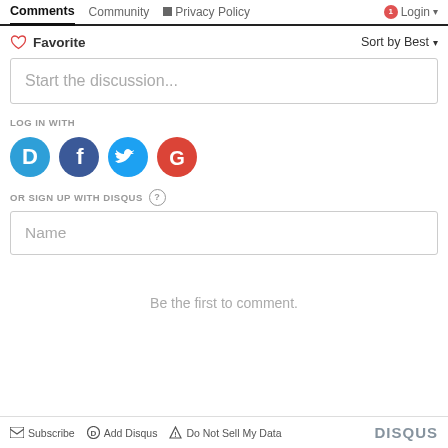Comments  Community  Privacy Policy  Login
♡ Favorite    Sort by Best ▾
Start the discussion...
LOG IN WITH
[Figure (logo): Social login icons: Disqus (blue D), Facebook (dark blue f), Twitter (blue bird), Google (red G)]
OR SIGN UP WITH DISQUS ?
Name
Be the first to comment.
Subscribe  Add Disqus  Do Not Sell My Data    DISQUS